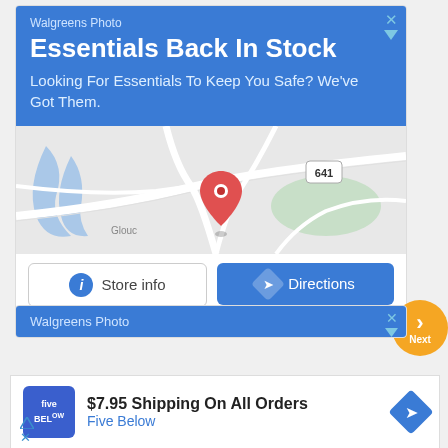[Figure (screenshot): Walgreens Photo advertisement banner with blue header, map view showing location pin near route 641, and two buttons: Store info and Directions]
Walgreens Photo
Essentials Back In Stock
Looking For Essentials To Keep You Safe? We've Got Them.
[Figure (map): Google Maps snippet showing a location pin near highway 641, with blue water body and green areas visible, labeled Glouc...]
Store info
Directions
Next
[Figure (screenshot): Walgreens Photo advertisement partial banner with blue header]
Walgreens Photo
[Figure (screenshot): Five Below advertisement showing logo, $7.95 Shipping On All Orders text, and directions icon]
$7.95 Shipping On All Orders
Five Below